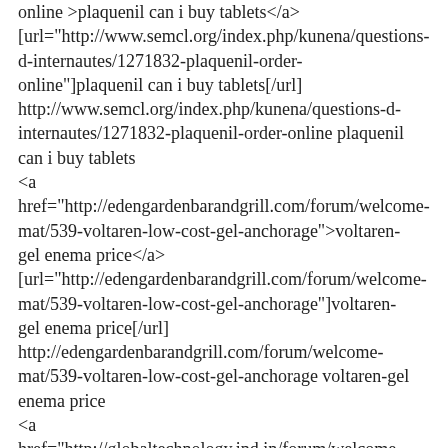online">plaquenil can i buy tablets</a> [url="http://www.semcl.org/index.php/kunena/questions-d-internautes/1271832-plaquenil-order-online"]plaquenil can i buy tablets[/url] http://www.semcl.org/index.php/kunena/questions-d-internautes/1271832-plaquenil-order-online plaquenil can i buy tablets
<a href="http://edengardenbarandgrill.com/forum/welcome-mat/539-voltaren-low-cost-gel-anchorage">voltaren-gel enema price</a> [url="http://edengardenbarandgrill.com/forum/welcome-mat/539-voltaren-low-cost-gel-anchorage"]voltaren-gel enema price[/url] http://edengardenbarandgrill.com/forum/welcome-mat/539-voltaren-low-cost-gel-anchorage voltaren-gel enema price
<a href="http://globaltechnology.ind.in/forum/welcome-mat/679531-revia-can-i-buy.html">can i purchase alternative revia</a> [url="http://globaltechnology.ind.in/forum/welcome-mat/679531-revia-can-i-buy.html"]can i purchase alternative revia[/url] http://globaltechnology.ind.in/forum/welcome-mat/679531-revia-can-i-buy.html can i purchase